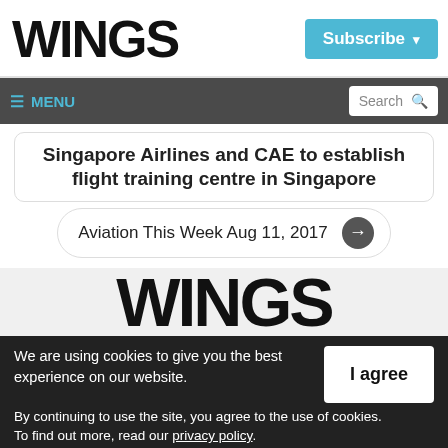WINGS
Singapore Airlines and CAE to establish flight training centre in Singapore
Aviation This Week Aug 11, 2017
[Figure (logo): WINGS logo large in gray background section]
We are using cookies to give you the best experience on our website. By continuing to use the site, you agree to the use of cookies. To find out more, read our privacy policy.